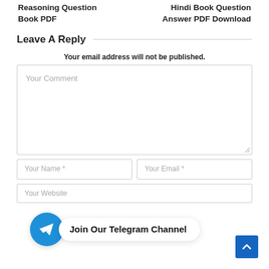Reasoning Question Book PDF
Hindi Book Question Answer PDF Download
Leave A Reply
Your email address will not be published.
Your Comment
Your Name *
Your Email *
Your Website
Join Our Telegram Channel